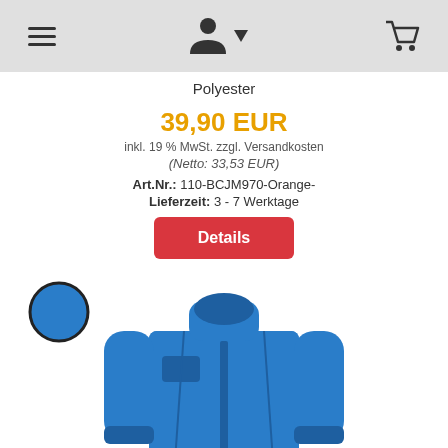Navigation header with hamburger menu, user/account icon with dropdown arrow, and shopping cart icon
Polyester
39,90 EUR
inkl. 19 % MwSt. zzgl. Versandkosten
(Netto: 33,53 EUR)
Art.Nr.: 110-BCJM970-Orange-
Lieferzeit: 3 - 7 Werktage
Details
[Figure (illustration): Blue royal color swatch circle and a royal blue men's jacket/windbreaker product photo]